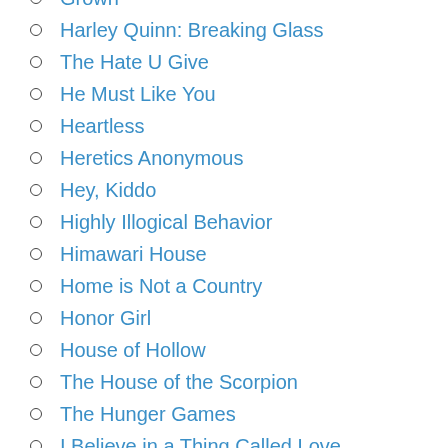Grown
Harley Quinn: Breaking Glass
The Hate U Give
He Must Like You
Heartless
Heretics Anonymous
Hey, Kiddo
Highly Illogical Behavior
Himawari House
Home is Not a Country
Honor Girl
House of Hollow
The House of the Scorpion
The Hunger Games
I Believe in a Thing Called Love
I Wish You All the Best
In Deeper waters